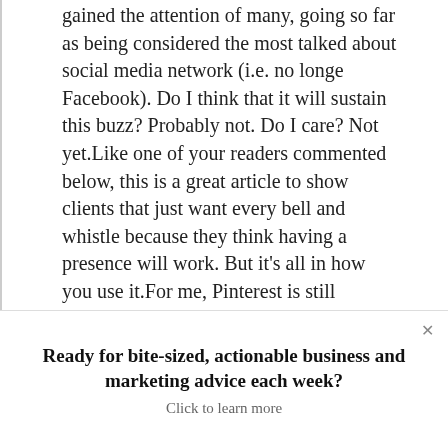gained the attention of many, going so far as being considered the most talked about social media network (i.e. no longe Facebook).  Do I think that it will sustain this buzz?  Probably not.  Do I care?  Not yet.Like one of your readers commented below, this is a great article to show clients that just want every bell and whistle because they think having a presence will work.  But it's all in how you use it.For me, Pinterest is still personal in nature.  I do share my company blog posts, but they are mixed with other related industry items (including competitors) on a board titled “Wedding
Ready for bite-sized, actionable business and marketing advice each week?
Click to learn more